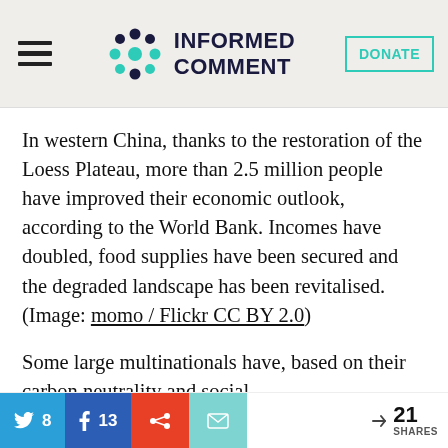Informed Comment — DONATE
In western China, thanks to the restoration of the Loess Plateau, more than 2.5 million people have improved their economic outlook, according to the World Bank. Incomes have doubled, food supplies have been secured and the degraded landscape has been revitalised. (Image: momo / Flickr CC BY 2.0)
Some large multinationals have, based on their carbon neutrality and social
Twitter 8  Facebook 13  Reddit  Email  < 21 SHARES